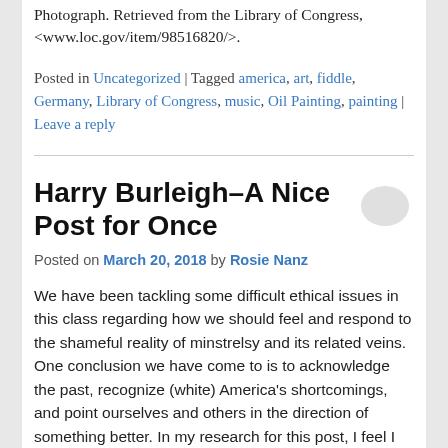Photograph. Retrieved from the Library of Congress, <www.loc.gov/item/98516820/>.
Posted in Uncategorized | Tagged america, art, fiddle, Germany, Library of Congress, music, Oil Painting, painting | Leave a reply
Harry Burleigh–A Nice Post for Once
[Figure (illustration): Speech bubble / comment icon in light gray]
Posted on March 20, 2018 by Rosie Nanz
We have been tackling some difficult ethical issues in this class regarding how we should feel and respond to the shameful reality of minstrelsy and its related veins. One conclusion we have come to is to acknowledge the past, recognize (white) America's shortcomings, and point ourselves and others in the direction of something better. In my research for this post, I feel I have found that something better.